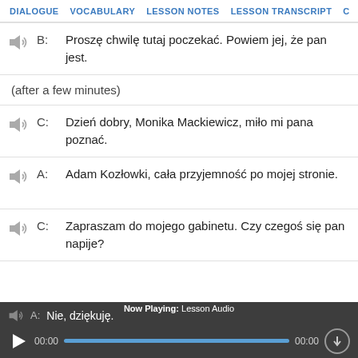DIALOGUE   VOCABULARY   LESSON NOTES   LESSON TRANSCRIPT   C
B: Proszę chwilę tutaj poczekać. Powiem jej, że pan jest.
(after a few minutes)
C: Dzień dobry, Monika Mackiewicz, miło mi pana poznać.
A: Adam Kozłowki, cała przyjemność po mojej stronie.
C: Zapraszam do mojego gabinetu. Czy czegoś się pan napije?
A: Nie, dziękuję.   Now Playing: Lesson Audio   00:00   00:00